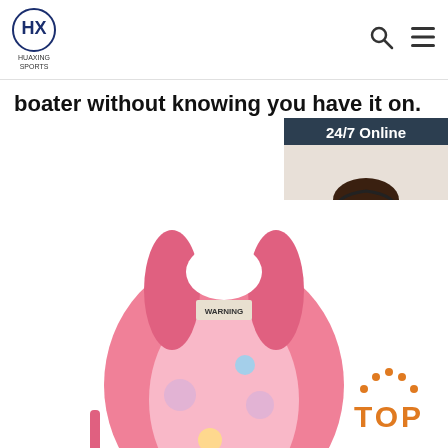HUAXING SPORTS
boater without knowing you have it on.
Get Price
[Figure (photo): Customer service agent widget with '24/7 Online' label, woman with headset, 'Click here for free chat!' text, and orange QUOTATION button]
[Figure (photo): Pink children's life vest/floatation jacket with colorful cartoon print and WARNING label, with black buckle strap]
[Figure (other): Orange TOP badge with dotted arc above text]